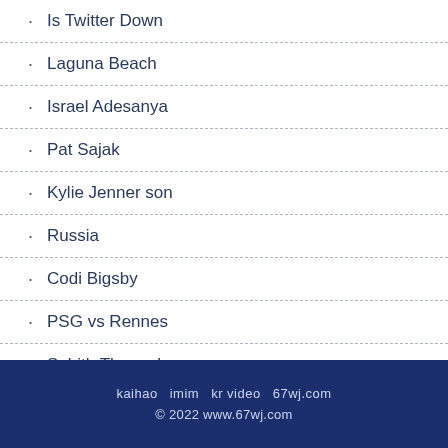Is Twitter Down
Laguna Beach
Israel Adesanya
Pat Sajak
Kylie Jenner son
Russia
Codi Bigsby
PSG vs Rennes
Sahith Theegala
Richad Seymour
kaihao  imim  kr video  67wj.com
© 2022  www.67wj.com